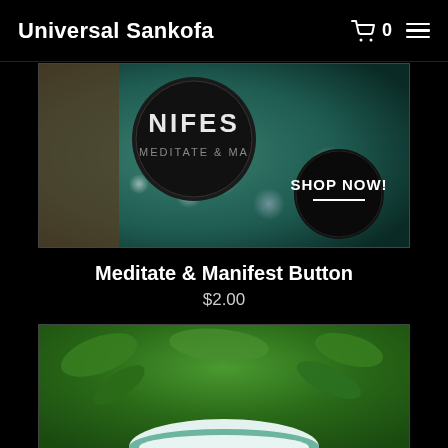Universal Sankofa
[Figure (photo): Close-up photo of a black button/pin that reads 'NIFES' (partially visible 'MANIFEST') on a teal/green background with bokeh lights. A black circular badge with 'SHOP NOW!' in white text is visible in the lower right.]
Meditate & Manifest Button
$2.00
[Figure (photo): Photo of a white/teal rubber wristband or bracelet on a green leafy background, partially cropped.]